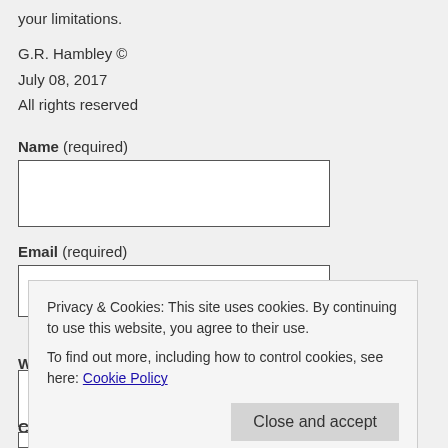your limitations.
G.R. Hambley ©
July 08, 2017
All rights reserved
Name (required)
Email (required)
W
Privacy & Cookies: This site uses cookies. By continuing to use this website, you agree to their use.
To find out more, including how to control cookies, see here: Cookie Policy
Close and accept
Comment (required)